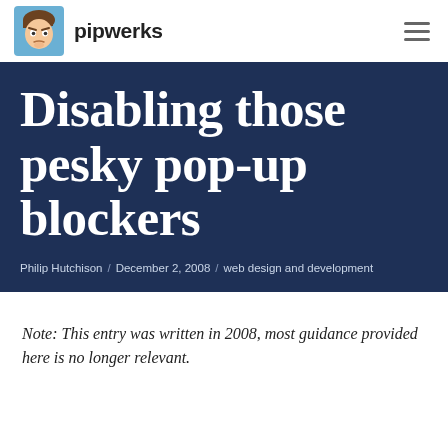pipwerks
Disabling those pesky pop-up blockers
Philip Hutchison / December 2, 2008 / web design and development
Note: This entry was written in 2008, most guidance provided here is no longer relevant.